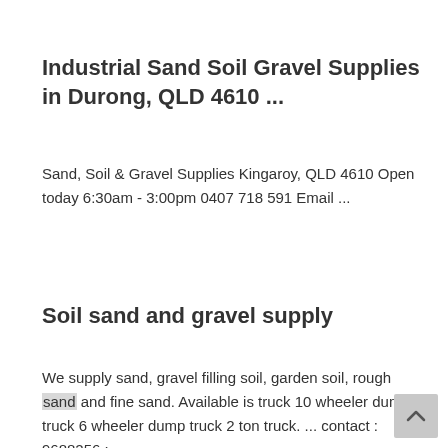Industrial Sand Soil Gravel Supplies in Durong, QLD 4610 ...
Sand, Soil & Gravel Supplies Kingaroy, QLD 4610 Open today 6:30am - 3:00pm 0407 718 591 Email ...
Soil sand and gravel supply
We supply sand, gravel filling soil, garden soil, rough sand and fine sand. Available is truck 10 wheeler dump truck 6 wheeler dump truck 2 ton truck. ... contact : 9688256 : ...